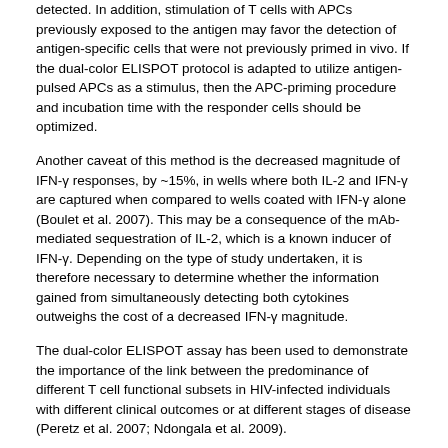detected. In addition, stimulation of T cells with APCs previously exposed to the antigen may favor the detection of antigen-specific cells that were not previously primed in vivo. If the dual-color ELISPOT protocol is adapted to utilize antigen-pulsed APCs as a stimulus, then the APC-priming procedure and incubation time with the responder cells should be optimized.
Another caveat of this method is the decreased magnitude of IFN-γ responses, by ~15%, in wells where both IL-2 and IFN-γ are captured when compared to wells coated with IFN-γ alone (Boulet et al. 2007). This may be a consequence of the mAb-mediated sequestration of IL-2, which is a known inducer of IFN-γ. Depending on the type of study undertaken, it is therefore necessary to determine whether the information gained from simultaneously detecting both cytokines outweighs the cost of a decreased IFN-γ magnitude.
The dual-color ELISPOT assay has been used to demonstrate the importance of the link between the predominance of different T cell functional subsets in HIV-infected individuals with different clinical outcomes or at different stages of disease (Peretz et al. 2007; Ndongala et al. 2009).
REFERENCES
Boulet S, Ndongala ML, Peretz Y, Boisvert MP, Boulassel MR, Tremblay C, Routy JP, Sekaly RP, Bernard NF (2007) A dual color